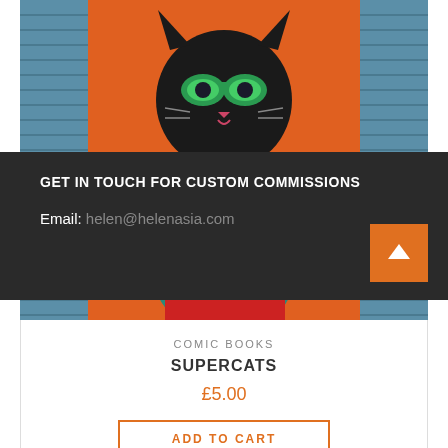[Figure (photo): Photo of a comic book featuring a black cat dressed as a superhero in a green and teal costume with a red C emblem, yellow star details, red skirt, yellow belt, green gloves. Background is blue textured fabric on sides and orange/red on the comic itself.]
COMIC BOOKS
SUPERCATS
£5.00
ADD TO CART
GET IN TOUCH FOR CUSTOM COMMISSIONS
Email: helen@helenasia.com